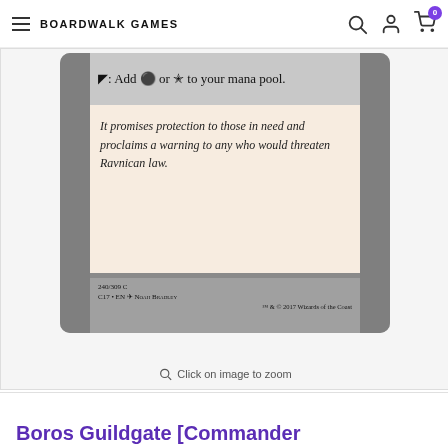BOARDWALK GAMES
[Figure (photo): Magic: The Gathering card - Boros Guildgate. Shows mana ability text '{T}: Add G or W to your mana pool.' and flavor text 'It promises protection to those in need and proclaims a warning to any who would threaten Ravnican law.' Card number 240/309 C, C17 EN, art by Noah Bradley, TM & © 2017 Wizards of the Coast]
Click on image to zoom
[Figure (other): Small thumbnail image of the Boros Guildgate card, outlined with a teal border]
Boros Guildgate [Commander